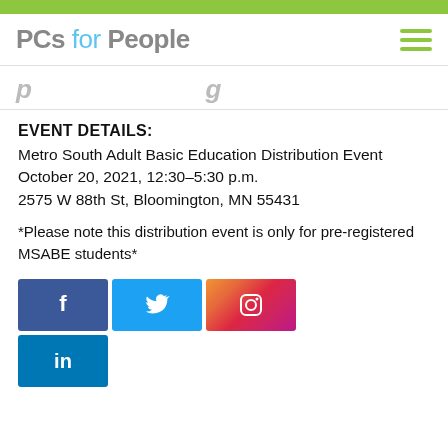PCs for People
(partial page title, partially visible)
EVENT DETAILS:
Metro South Adult Basic Education Distribution Event
October 20, 2021, 12:30–5:30 p.m.
2575 W 88th St, Bloomington, MN 55431
*Please note this distribution event is only for pre-registered MSABE students*
[Figure (other): Social media icons: Facebook, Twitter, Instagram, LinkedIn]